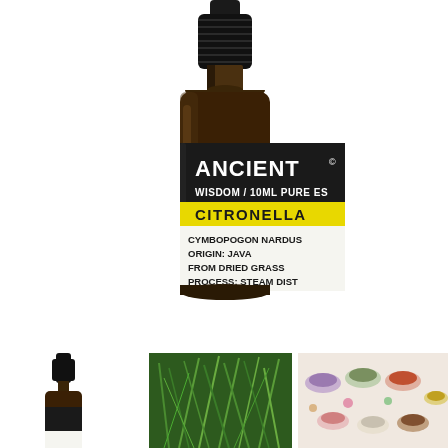[Figure (photo): Main product image: Ancient Wisdom Citronella 10ml pure essential oil in a dark amber glass bottle with black dropper cap. Label shows ANCIENT WISDOM / 10ML PURE ES... CITRONELLA in yellow band, and details: CYMBOPOGON NARDUS, ORIGIN: JAVA, FROM DRIED GRASS, PROCESS: STEAM DIST...]
[Figure (photo): Thumbnail image of the same bottle (partial view showing top/cap) on white background]
[Figure (photo): Thumbnail image of citronella grass plant, green feathery grass on dark background]
[Figure (photo): Thumbnail image showing various herbs, spices and flowers arranged in small bowls/piles]